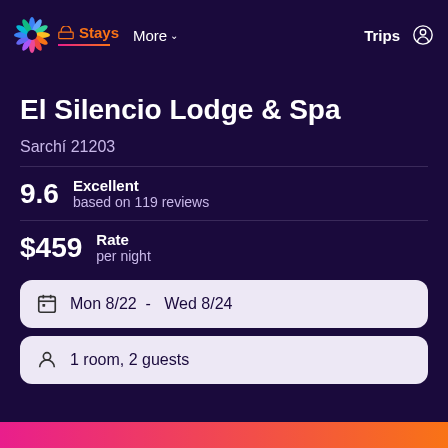Stays  More  Trips
El Silencio Lodge & Spa
Sarchí 21203
9.6  Excellent  based on 119 reviews
$459  Rate  per night
Mon 8/22 - Wed 8/24
1 room, 2 guests